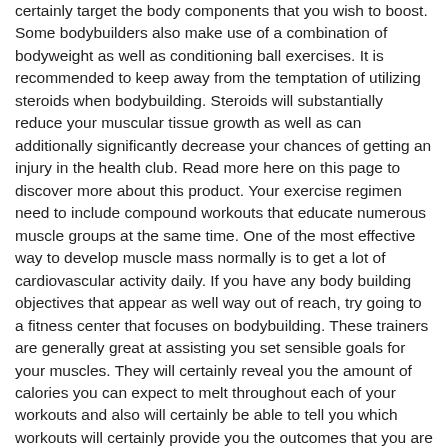certainly target the body components that you wish to boost. Some bodybuilders also make use of a combination of bodyweight as well as conditioning ball exercises. It is recommended to keep away from the temptation of utilizing steroids when bodybuilding. Steroids will substantially reduce your muscular tissue growth as well as can additionally significantly decrease your chances of getting an injury in the health club. Read more here on this page to discover more about this product. Your exercise regimen need to include compound workouts that educate numerous muscle groups at the same time. One of the most effective way to develop muscle mass normally is to get a lot of cardiovascular activity daily. If you have any body building objectives that appear as well way out of reach, try going to a fitness center that focuses on bodybuilding. These trainers are generally great at assisting you set sensible goals for your muscles. They will certainly reveal you the amount of calories you can expect to melt throughout each of your workouts and also will certainly be able to tell you which workouts will certainly provide you the outcomes that you are searching for. When you are reaching your body's capacity as a body builder, you need to eat a healthy and balanced diet as well